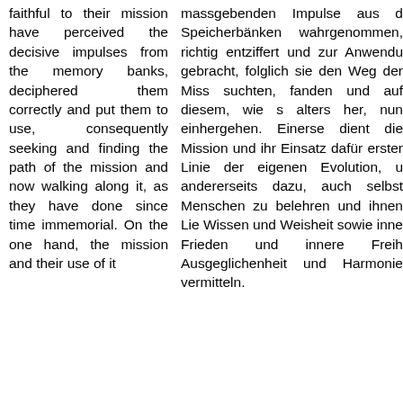faithful to their mission have perceived the decisive impulses from the memory banks, deciphered them correctly and put them to use, consequently seeking and finding the path of the mission and now walking along it, as they have done since time immemorial. On the one hand, the mission and their use of it
massgebenden Impulse aus d Speicherbänken wahrgenommen, richtig entziffert und zur Anwendu gebracht, folglich sie den Weg der Miss suchten, fanden und auf diesem, wie s alters her, nun einhergehen. Einerse dient die Mission und ihr Einsatz dafür erster Linie der eigenen Evolution, u andererseits dazu, auch selbst Menschen zu belehren und ihnen Lie Wissen und Weisheit sowie inne Frieden und innere Freih Ausgeglichenheit und Harmonie vermitteln.